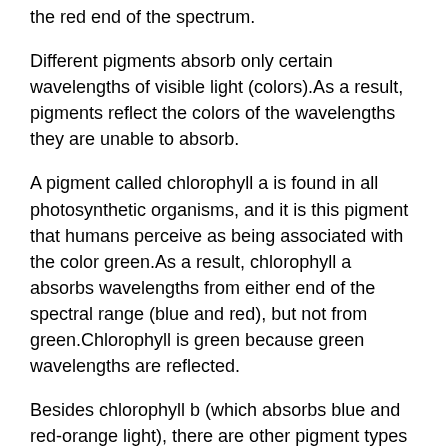the red end of the spectrum.
Different pigments absorb only certain wavelengths of visible light (colors).As a result, pigments reflect the colors of the wavelengths they are unable to absorb.
A pigment called chlorophyll a is found in all photosynthetic organisms, and it is this pigment that humans perceive as being associated with the color green.As a result, chlorophyll a absorbs wavelengths from either end of the spectral range (blue and red), but not from green.Chlorophyll is green because green wavelengths are reflected.
Besides chlorophyll b (which absorbs blue and red-orange light), there are other pigment types such as carotenoids.The absorption spectrum of a pigment lets us recognize its type based on the specific wavelengths it absorbs from visible light.